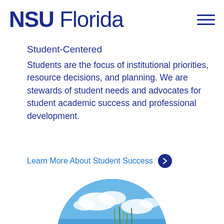NSU Florida
Student-Centered
Students are the focus of institutional priorities, resource decisions, and planning. We are stewards of student needs and advocates for student academic success and professional development.
Learn More About Student Success
[Figure (photo): Circular cropped outdoor photo of a person examining tall grass under a blue sky with clouds]